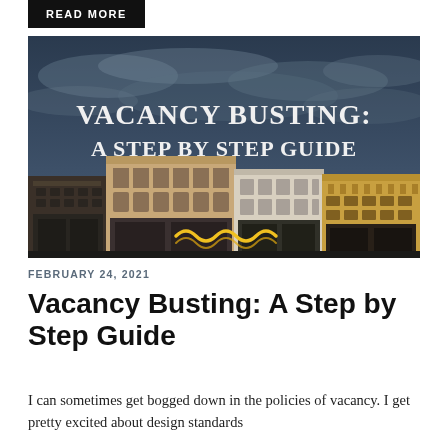READ MORE
[Figure (illustration): Book cover for 'Vacancy Busting: A Step by Step Guide' by Jeff Siegler. Dark blue/grey cloudy sky background with a row of historic downtown commercial buildings at the bottom. Neon yellow-orange cursive sign decoration. White serif title text and grey author name.]
FEBRUARY 24, 2021
Vacancy Busting: A Step by Step Guide
I can sometimes get bogged down in the policies of vacancy. I get pretty excited about design standards